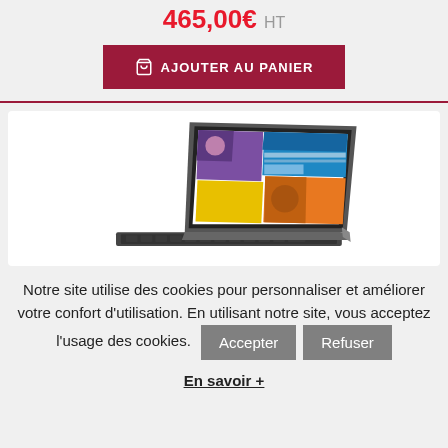465,00€ HT
AJOUTER AU PANIER
[Figure (photo): Lenovo tablet/laptop 2-in-1 device with detachable keyboard, screen showing colorful app tiles and a Windows interface, photographed at an angle]
Notre site utilise des cookies pour personnaliser et améliorer votre confort d'utilisation. En utilisant notre site, vous acceptez l'usage des cookies.
Accepter
Refuser
En savoir +